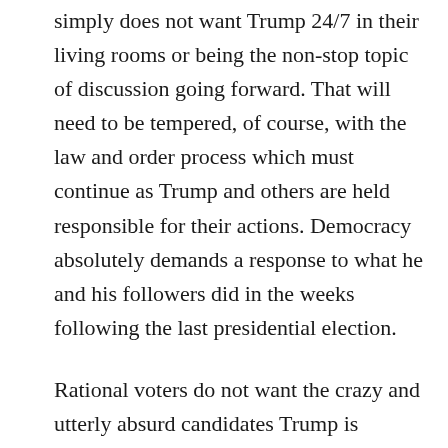simply does not want Trump 24/7 in their living rooms or being the non-stop topic of discussion going forward. That will need to be tempered, of course, with the law and order process which must continue as Trump and others are held responsible for their actions. Democracy absolutely demands a response to what he and his followers did in the weeks following the last presidential election.
Rational voters do not want the crazy and utterly absurd candidates Trump is pushing from Arizona to Georgia, those nominees his cult followers voted for in primaries. The steam is building for a strong blowback in state after state concerning the Trump-fueled antics this year, just as the results proved in 2020. Ron Brownstein